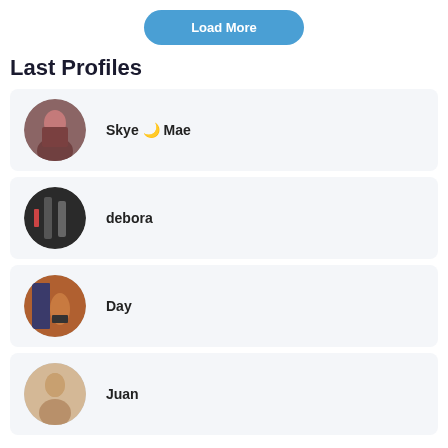[Figure (other): Load More button at the top]
Last Profiles
Skye 🌙 Mae
debora
Day
Juan
[Figure (other): Load More button at the bottom]